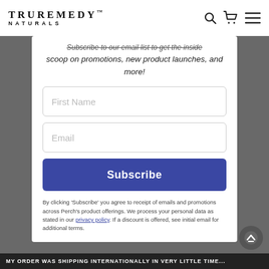TRUREMEDY™ NATURALS
Subscribe to our email list to get the inside scoop on promotions, new product launches, and more!
First Name
Email
Subscribe
By clicking 'Subscribe' you agree to receipt of emails and promotions across Perch's product offerings. We process your personal data as stated in our privacy policy. If a discount is offered, see initial email for additional terms.